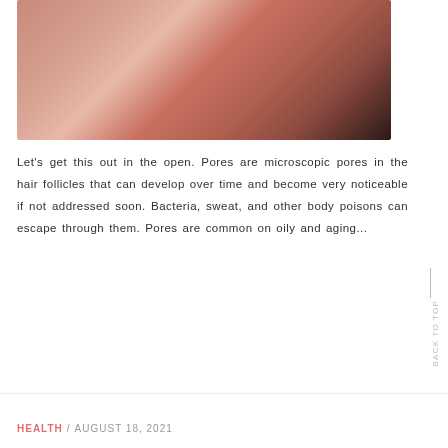[Figure (photo): Close-up photo of a woman's lower face and jaw area, with her hand touching her cheek. Skin texture is visible.]
Let's get this out in the open. Pores are microscopic pores in the hair follicles that can develop over time and become very noticeable if not addressed soon. Bacteria, sweat, and other body poisons can escape through them. Pores are common on oily and aging...
READ MORE
BACK TO TOP
HEALTH  /  AUGUST 18, 2021